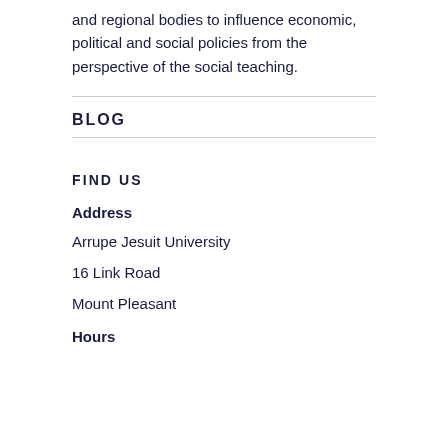and regional bodies to influence economic, political and social policies from the perspective of the social teaching.
BLOG
FIND US
Address
Arrupe Jesuit University
16 Link Road
Mount Pleasant
Hours